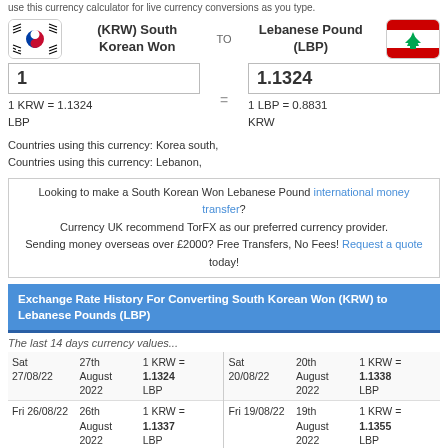use this currency calculator for live currency conversions as you type.
(KRW) South Korean Won TO Lebanese Pound (LBP) | 1 | 1.1324 | 1 KRW = 1.1324 LBP | 1 LBP = 0.8831 KRW
Countries using this currency: Korea south,
Countries using this currency: Lebanon,
Looking to make a South Korean Won Lebanese Pound international money transfer?
Currency UK recommend TorFX as our preferred currency provider.
Sending money overseas over £2000? Free Transfers, No Fees! Request a quote today!
Exchange Rate History For Converting South Korean Won (KRW) to Lebanese Pounds (LBP)
The last 14 days currency values...
| Date | Details | Rate | Date | Details | Rate |
| --- | --- | --- | --- | --- | --- |
| Sat 27/08/22 | 27th August 2022 | 1 KRW = 1.1324 LBP | Sat 20/08/22 | 20th August 2022 | 1 KRW = 1.1338 LBP |
| Fri 26/08/22 | 26th August 2022 | 1 KRW = 1.1337 LBP | Fri 19/08/22 | 19th August 2022 | 1 KRW = 1.1355 LBP |
| Thu 25/08/22 | 25th August 2022 | 1 KRW = 1.139 LBP | Thu 18/08/22 | 18th August 2022 | 1 KRW = 1.1502 LBP |